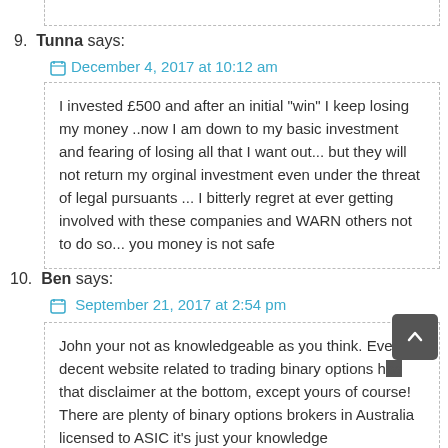9. Tunna says:
December 4, 2017 at 10:12 am
I invested £500 and after an initial “win” I keep losing my money ..now I am down to my basic investment and fearing of losing all that I want out... but they will not return my orginal investment even under the threat of legal pursuants ... I bitterly regret at ever getting involved with these companies and WARN others not to do so... you money is not safe
10. Ben says:
September 21, 2017 at 2:54 pm
John your not as knowledgeable as you think. Every decent website related to trading binary options h... that disclaimer at the bottom, except yours of course! There are plenty of binary options brokers in Australia licensed to ASIC it’s just your knowledge